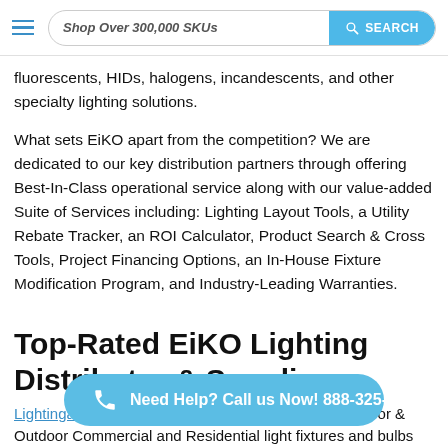Shop Over 300,000 SKUs  SEARCH
fluorescents, HIDs, halogens, incandescents, and other specialty lighting solutions.
What sets EiKO apart from the competition? We are dedicated to our key distribution partners through offering Best-In-Class operational service along with our value-added Suite of Services including: Lighting Layout Tools, a Utility Rebate Tracker, an ROI Calculator, Product Search & Cross Tools, Project Financing Options, an In-House Fixture Modification Program, and Industry-Leading Warranties.
Top-Rated EiKO Lighting Distributor & Supplier
Lightingandsupplies.com is a lighting distributor of indoor & Outdoor Commercial and Residential light fixtures and bulbs